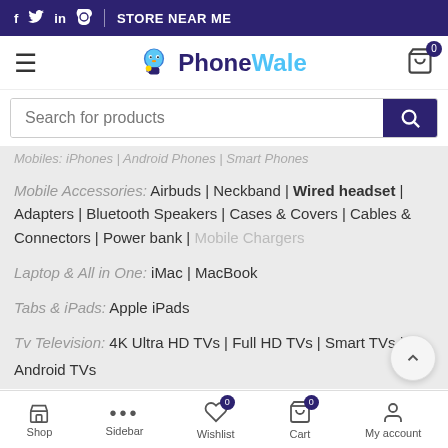f  in  STORE NEAR ME
[Figure (logo): PhoneWale logo with mascot character]
Search for products
Mobiles: iPhones | Android Phones | Smart Phones
Mobile Accessories: Airbuds | Neckband | Wired headset | Adapters | Bluetooth Speakers | Cases & Covers | Cables & Connectors | Power bank | Mobile Chargers
Laptop & All in One: iMac | MacBook
Tabs & iPads: Apple iPads
Tv Television: 4K Ultra HD TVs | Full HD TVs | Smart TVs | Android TVs
Shop  Sidebar  Wishlist 0  Cart 0  My account